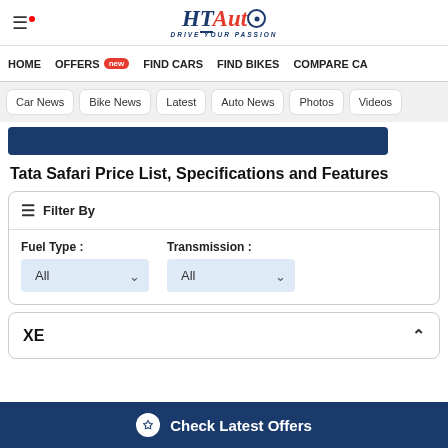HT Auto - Drive Your Passion
HOME | OFFERS new | FIND CARS | FIND BIKES | COMPARE CA
Car News | Bike News | Latest | Auto News | Photos | Videos
Tata Safari Price List, Specifications and Features
Filter By
Fuel Type : All  Transmission : All
XE
Check Latest Offers